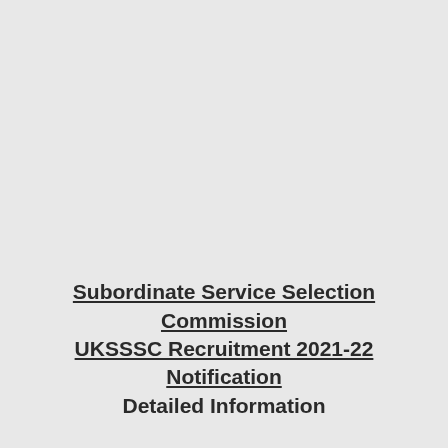Subordinate Service Selection Commission UKSSSC Recruitment 2021-22 Notification Detailed Information